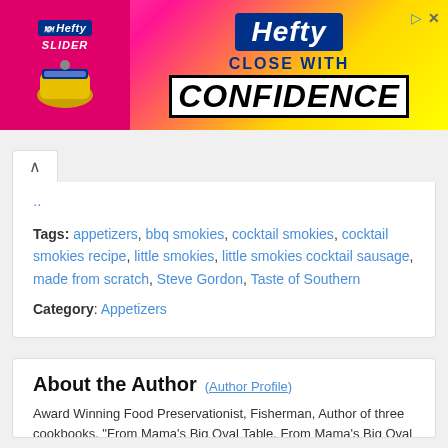[Figure (other): Hefty Slider Bags advertisement banner with pink/yellow gradient background. Shows Hefty logo, 'SLIDER' text, bag image on left, and 'Hefty CLOSE WITH CONFIDENCE' text on right.]
..
Tags: appetizers, bbq smokies, cocktail smokies, cocktail smokies recipe, little smokies, little smokies cocktail sausage, made from scratch, Steve Gordon, Taste of Southern
Category: Appetizers
About the Author (Author Profile)
Award Winning Food Preservationist, Fisherman, Author of three cookbooks. "From Mama's Big Oval Table, From Mama's Big Oval Table - BOOK TWO and Carolina Christmas Sweets and Appetizers." Online Contributor to Our State Magazine Newsletter.